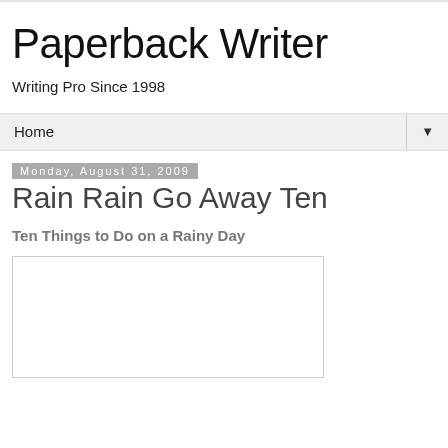Paperback Writer
Writing Pro Since 1998
Home
Monday, August 31, 2009
Rain Rain Go Away Ten
Ten Things to Do on a Rainy Day
[Figure (other): Empty white image box with border]